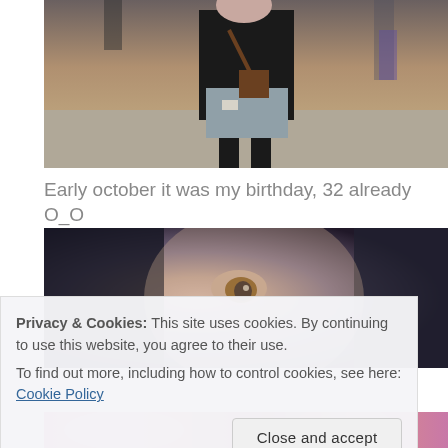[Figure (photo): Photo of a woman in dark jacket and denim skirt standing outdoors, other people visible in background]
Early october it was my birthday, 32 already O_O
[Figure (photo): Close-up photo of a woman's face with dark hair and brown eyes]
Privacy & Cookies: This site uses cookies. By continuing to use this website, you agree to their use.
To find out more, including how to control cookies, see here: Cookie Policy
[Figure (photo): Partial view of a colorful photo at the bottom of the page]